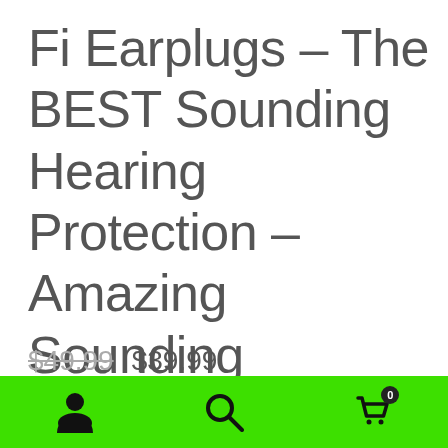Fi Earplugs – The BEST Sounding Hearing Protection – Amazing Sounding Moderate Decibel Reduction!
$49.99  $39.99
– Reusable earplugs with an incredible, equalized and
Navigation bar with person, search, and cart icons